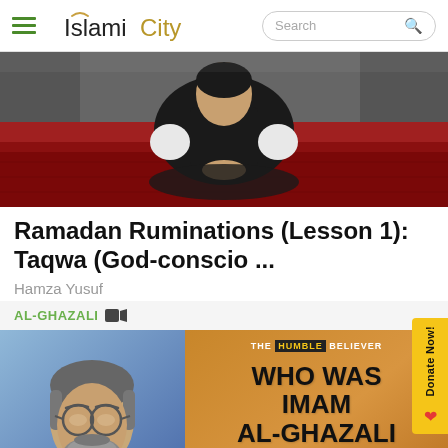IslamiCity
[Figure (photo): Person in white shirt and dark vest sitting cross-legged on a red carpet, viewed from behind/side, in prayer or meditation pose]
Ramadan Ruminations (Lesson 1): Taqwa (God-conscio ...
Hamza Yusuf
AL-GHAZALI
[Figure (photo): The Humble Believer - Who Was Imam Al-Ghazali: person with glasses and beard on left, text overlay on orange-brown background reading WHO WAS IMAM AL-GHAZALI]